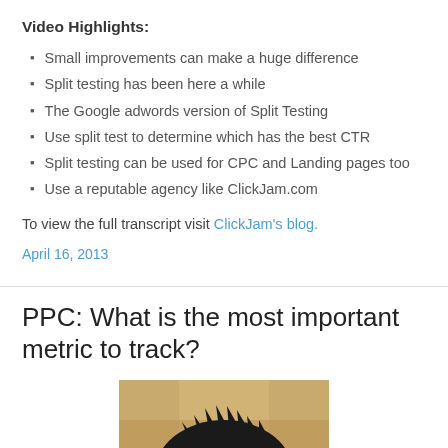Video Highlights:
Small improvements can make a huge difference
Split testing has been here a while
The Google adwords version of Split Testing
Use split test to determine which has the best CTR
Split testing can be used for CPC and Landing pages too
Use a reputable agency like ClickJam.com
To view the full transcript visit ClickJam's blog.
April 16, 2013
PPC: What is the most important metric to track?
[Figure (photo): Top of a person's head with dark spiky hair, warm-toned background]